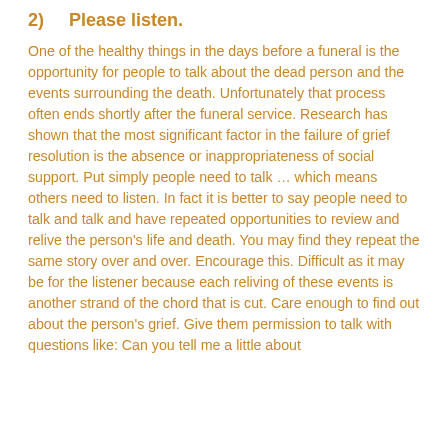2)   Please listen.
One of the healthy things in the days before a funeral is the opportunity for people to talk about the dead person and the events surrounding the death.  Unfortunately that process often ends shortly after the funeral service.  Research has shown that the most significant factor in the failure of grief resolution is the absence or inappropriateness of social support.  Put simply people need to talk … which means others need to listen.  In fact it is better to say people need to talk and talk and have repeated opportunities to review and relive the person's life and death.  You may find they repeat the same story over and over.  Encourage this.  Difficult as it may be for the listener because each reliving of these events is another strand of the chord that is cut.  Care enough to find out about the person's grief.  Give them permission to talk with questions like: Can you tell me a little about